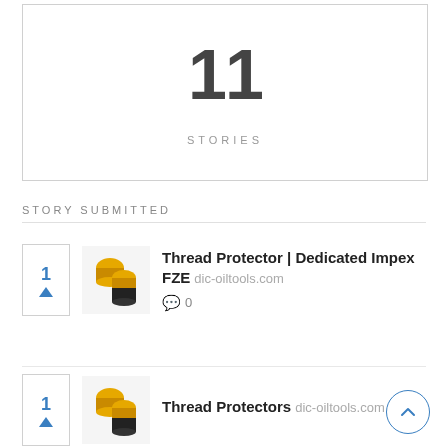11
STORIES
STORY SUBMITTED
[Figure (photo): Thread protector product — yellow/black oil tool cap with threads, thumbnail image]
Thread Protector | Dedicated Impex FZE dic-oiltools.com
0 comments
[Figure (photo): Thread protectors product — yellow/black oil tool caps, thumbnail image (second item, partially visible)]
Thread Protectors dic-oiltools.com